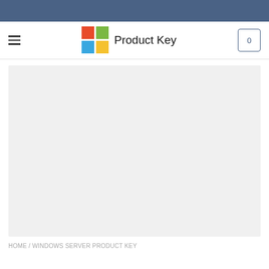[Figure (logo): Microsoft Windows logo with four colored squares (red, green, blue, yellow) and text 'Product Key' beside it, plus hamburger menu and cart icon with 0]
[Figure (photo): Large light gray placeholder/image area]
HOME / WINDOWS SERVER PRODUCT KEY